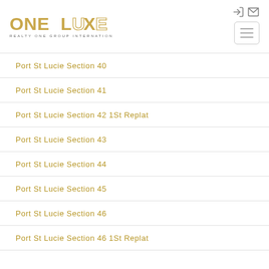[Figure (logo): OneLuxe Realty One Group International logo with gold text]
Port St Lucie Section 40
Port St Lucie Section 41
Port St Lucie Section 42 1St Replat
Port St Lucie Section 43
Port St Lucie Section 44
Port St Lucie Section 45
Port St Lucie Section 46
Port St Lucie Section 46 1St Replat